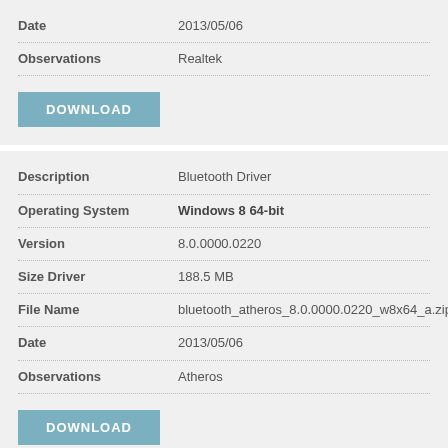| Field | Value |
| --- | --- |
| Date | 2013/05/06 |
| Observations | Realtek |
DOWNLOAD
| Field | Value |
| --- | --- |
| Description | Bluetooth Driver |
| Operating System | Windows 8 64-bit |
| Version | 8.0.0000.0220 |
| Size Driver | 188.5 MB |
| File Name | bluetooth_atheros_8.0.0000.0220_w8x64_a.zip |
| Date | 2013/05/06 |
| Observations | Atheros |
DOWNLOAD